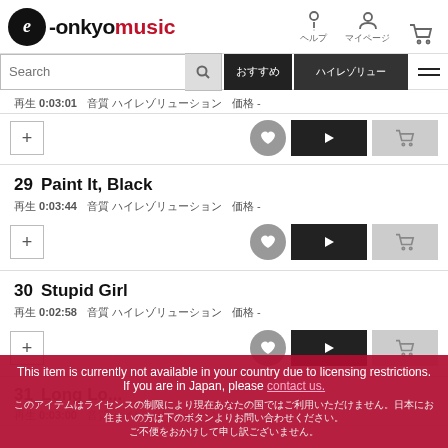[Figure (logo): e-onkyo music logo with circle e and red 'music' text]
ヘルプ　マイページ　(cart icon)
Search bar with search button, navigation buttons and hamburger menu
再生 0:03:01  音質 ハイレゾリューション  価格 -
29  Paint It, Black
再生 0:03:44  音質 ハイレゾリューション  価格 -
30  Stupid Girl
再生 0:02:58  音質 ハイレゾリューション  価格 -
31  Long Lo...
再生 0:03:00  音質 ハイレゾリューション
This item is currently not available in your country due to licensing restrictions. If you are in Japan, please contact us.